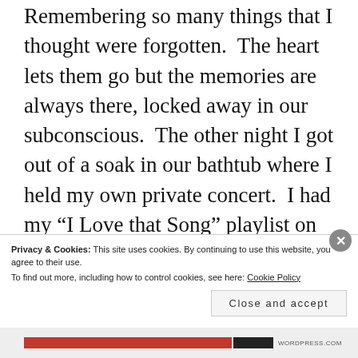Remembering so many things that I thought were forgotten.  The heart lets them go but the memories are always there, locked away in our subconscious.  The other night I got out of a soak in our bathtub where I held my own private concert.  I had my “I Love that Song” playlist on and was trying to shuffle my music but for some reason Siri wanted me to listen to (and perform) Maroon 5’s “Sunday Morning” over and over again.  It actually put me in a
Privacy & Cookies: This site uses cookies. By continuing to use this website, you agree to their use.
To find out more, including how to control cookies, see here: Cookie Policy